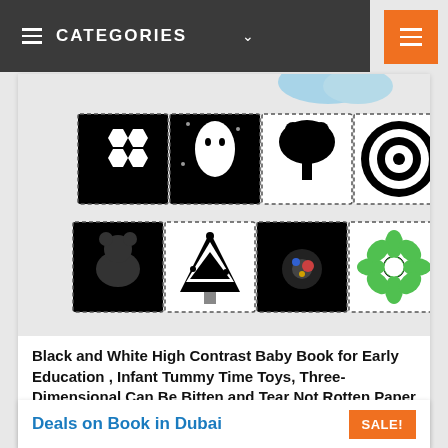CATEGORIES
[Figure (photo): Black and white high contrast baby book shown open accordion-style with multiple panels featuring black and white patterns such as hexagons, circles, animals, trees, flowers, and a ladybug. A baby hand is visible at the top reaching for the book.]
Black and White High Contrast Baby Book for Early Education , Infant Tummy Time Toys, Three-Dimensional Can Be Bitten and Tear Not Rotten Paper 0-3 Years Old Newborn Toys...
AED63 AED60
Deals on Book in Dubai
SALE!